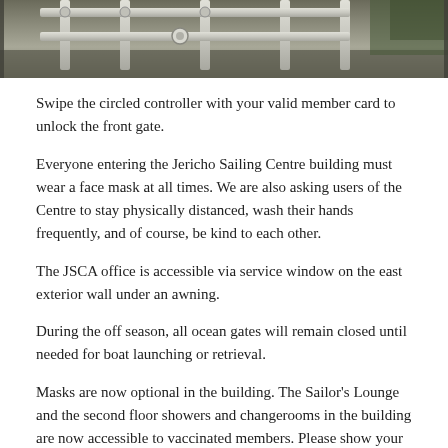[Figure (photo): Photograph of a gate with pipes and metal fittings, outdoor setting with vegetation in background]
Swipe the circled controller with your valid member card to unlock the front gate.
Everyone entering the Jericho Sailing Centre building must wear a face mask at all times. We are also asking users of the Centre to stay physically distanced, wash their hands frequently, and of course, be kind to each other.
The JSCA office is accessible via service window on the east exterior wall under an awning.
During the off season, all ocean gates will remain closed until needed for boat launching or retrieval.
Masks are now optional in the building. The Sailor's Lounge and the second floor showers and changerooms in the building are now accessible to vaccinated members. Please show your BC Vaccine Card at the JSCA office for access. Interior washrooms are available to all. All interior spaces can now support their fire